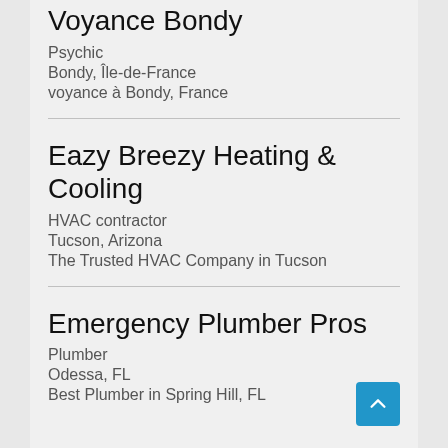Voyance Bondy
Psychic
Bondy, Île-de-France
voyance à Bondy, France
Eazy Breezy Heating & Cooling
HVAC contractor
Tucson, Arizona
The Trusted HVAC Company in Tucson
Emergency Plumber Pros
Plumber
Odessa, FL
Best Plumber in Spring Hill, FL